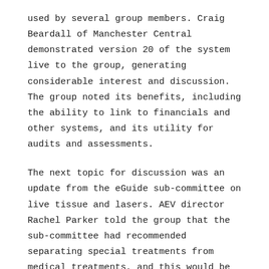used by several group members. Craig Beardall of Manchester Central demonstrated version 20 of the system live to the group, generating considerable interest and discussion. The group noted its benefits, including the ability to link to financials and other systems, and its utility for audits and assessments.
The next topic for discussion was an update from the eGuide sub-committee on live tissue and lasers. AEV director Rachel Parker told the group that the sub-committee had recommended separating special treatments from medical treatments, and this would be reflected in the next edition of the eGuide. Parker advised the group that whilst the eGuide is updated once a year in the summer, the eGuide sub-committee agreed to review whether it could be updated twice a year, depending on the urgency of the subject.